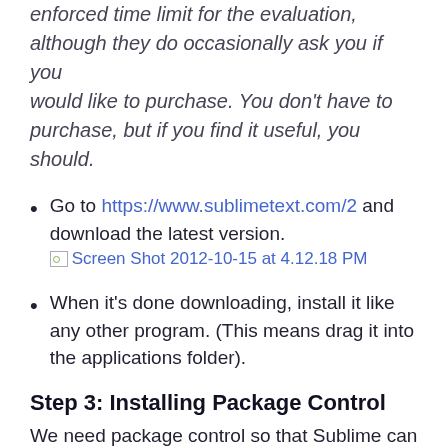enforced time limit for the evaluation, although they do occasionally ask you if you would like to purchase. You don't have to purchase, but if you find it useful, you should.
Go to https://www.sublimetext.com/2 and download the latest version. [Screen Shot 2012-10-15 at 4.12.18 PM]
When it's done downloading, install it like any other program. (This means drag it into the applications folder).
Step 3: Installing Package Control
We need package control so that Sublime can